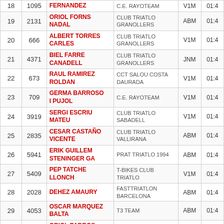| Pos | Bib | Name | Club | Cat | Time |
| --- | --- | --- | --- | --- | --- |
| 18 | 1095 | FERNANDEZ | C.E. RAYOTEAM | V1M | 01:4 |
| 19 | 2131 | ORIOL FORNS NADAL | CLUB TRIATLO GRANOLLERS | ABM | 01:4 |
| 20 | 666 | ALBERT TORRES CARLES | CLUB TRIATLO GRANOLLERS | V1M | 01:4 |
| 21 | 4371 | BIEL FARRE CANADELL | CLUB TRIATLO GRANOLLERS | JNM | 01:4 |
| 22 | 673 | RAUL RAMIREZ ROLDAN | CCT SALOU COSTA DAURADA | V1M | 01:4 |
| 23 | 709 | GERMA BARROSO I PUJOL | C.E. RAYOTEAM | V1M | 01:4 |
| 24 | 3919 | SERGI ESCRIU MATEU | CLUB TRIATLO SABADELL | V1M | 01:4 |
| 25 | 2835 | CESAR CASTAÑO VICENTE | CLUB TRIATLO VALLIRANA | ABM | 01:4 |
| 26 | 5941 | ERIK GUILLEM STENINGER GA | PRAT TRIATLO 1994 | ABM | 01:4 |
| 27 | 5409 | PEP TATCHE LLONCH | T-BIKES CLUB TRIATLO | V1M | 01:4 |
| 28 | 2028 | DEHEZ AMAURY | FASTTRIATLON BARCELONA | ABM | 01:4 |
| 29 | 4053 | OSCAR MARQUEZ BALTA | T3 TEAM | ABM | 01:4 |
| 30 | 809 | ORIOL PADROS VERA | C.E. RAYOTEAM | ABM | 01:4 |
| 31 | 261 | ALBERTO JIMENEZ HERNANDEZ | CLUB MEDINA TRIATLO | V1M | 01:4 |
| 32 | 2815 | JOAN CARLES CASTELLA MARC | TEAM TRIRELAY | V2M | 01:4 |